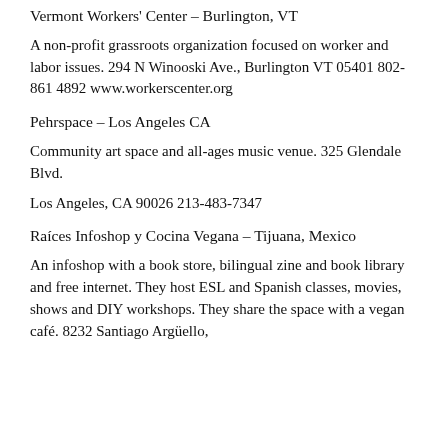Vermont Workers' Center – Burlington, VT
A non-profit grassroots organization focused on worker and labor issues. 294 N Winooski Ave., Burlington VT 05401 802-861 4892 www.workerscenter.org
Pehrspace – Los Angeles CA
Community art space and all-ages music venue. 325 Glendale Blvd.
Los Angeles, CA 90026 213-483-7347
Raíces Infoshop y Cocina Vegana – Tijuana, Mexico
An infoshop with a book store, bilingual zine and book library and free internet. They host ESL and Spanish classes, movies, shows and DIY workshops. They share the space with a vegan café. 8232 Santiago Argüello,